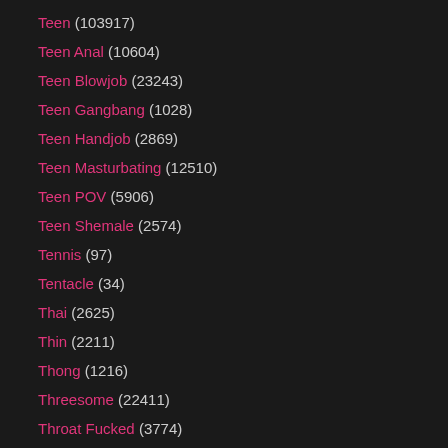Teen (103917)
Teen Anal (10604)
Teen Blowjob (23243)
Teen Gangbang (1028)
Teen Handjob (2869)
Teen Masturbating (12510)
Teen POV (5906)
Teen Shemale (2574)
Tennis (97)
Tentacle (34)
Thai (2625)
Thin (2211)
Thong (1216)
Threesome (22411)
Throat Fucked (3774)
Tickling (278)